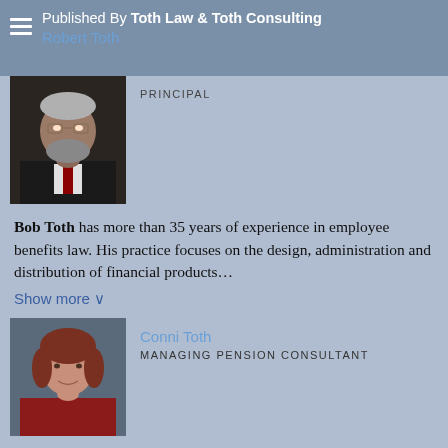Published By Toth Law & Toth Consulting
Robert Toth
PRINCIPAL
[Figure (photo): Headshot of Robert Toth, an older man with glasses and a beard wearing a suit with red tie]
Bob Toth has more than 35 years of experience in employee benefits law. His practice focuses on the design, administration and distribution of financial products…
Show more ∨
Conni Toth
MANAGING PENSION CONSULTANT
[Figure (photo): Headshot of Conni Toth, a woman with reddish-brown hair wearing a red jacket]
Conni Toth, co-founder and managing consultant for Applied Pension Professionals, LLC, brings more than 25 years of experience in retirement planning to the financial…
Show more ∨